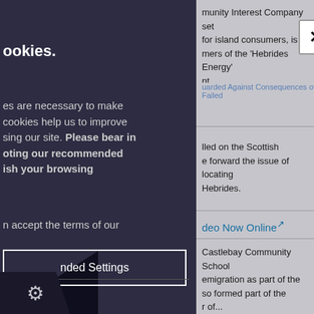ookies.
es are necessary to make cookies help us to improve sing our site. Please bear in oting our recommended ish your browsing
n accept the terms of our
nded Settings
munity Interest Company set for island consumers, is mers of the 'Hebrides Energy' nt...
uarded Against Consequences of Failed
lled on the Scottish e forward the issue of locating Hebrides.
deo Now Online↗
Castlebay Community School emigration as part of the so formed part of the r of...